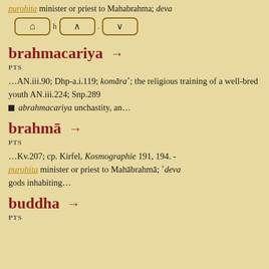purohita minister or priest to Mahabrahma; deva
[Figure (screenshot): Navigation buttons: home icon, up arrow, down arrow]
brahmacariya →
PTS
…AN.iii.90; Dhp-a.i.119; komāra°; the religious training of a well-bred youth AN.iii.224; Snp.289 ■ abrahmacariya unchastity, an…
brahmā →
PTS
…Kv.207; cp. Kirfel, Kosmographie 191, 194. - purohita minister or priest to Mahābrahmā; °deva gods inhabiting…
buddha →
PTS